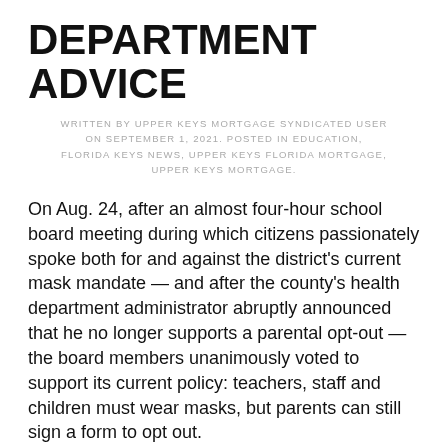DEPARTMENT ADVICE
WRITTEN BY UPPER KEYS MORTGAGE SYNDICATED USER ON SEPTEMBER 1, 2021. POSTED IN EDUCATION, FLORIDA KEYS NEWS, UPPER KEYS FLORIDA MORTGAGE, UPPER KEYS MORTGAGE.
On Aug. 24, after an almost four-hour school board meeting during which citizens passionately spoke both for and against the district's current mask mandate — and after the county's health department administrator abruptly announced that he no longer supports a parental opt-out — the board members unanimously voted to support its current policy: teachers, staff and children must wear masks, but parents can still sign a form to opt out.
The vote is contrary to the stance of other South Florida school districts. Miami-Dade County has a mask mandate with no opt-out at all while Broward County schools has a